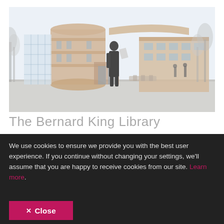[Figure (photo): A student standing outside The Bernard King Library building on a university campus. The building has a distinctive cylindrical brick tower and modern architecture. Trees are visible in the background, and other pedestrians are in the distance.]
The Bernard King Library
We use cookies to ensure we provide you with the best user experience. If you continue without changing your settings, we'll assume that you are happy to receive cookies from our site. Learn more.